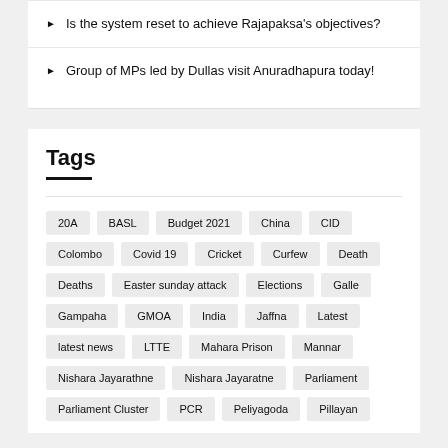Is the system reset to achieve Rajapaksa's objectives?
Group of MPs led by Dullas visit Anuradhapura today!
Tags
20A
BASL
Budget 2021
China
CID
Colombo
Covid 19
Cricket
Curfew
Death
Deaths
Easter sunday attack
Elections
Galle
Gampaha
GMOA
India
Jaffna
Latest
latest news
LTTE
Mahara Prison
Mannar
Nishara Jayarathne
Nishara Jayaratne
Parliament
Parliament Cluster
PCR
Peliyagoda
Pillayan